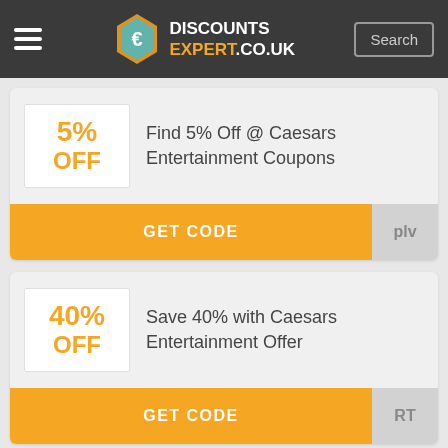DISCOUNTS EXPERT.CO.UK
5% OFF — Find 5% Off @ Caesars Entertainment Coupons
GET CODE | plv
40% OFF — Save 40% with Caesars Entertainment Offer
GET CODE | RT